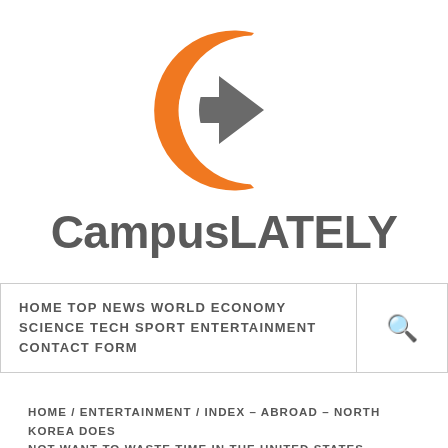[Figure (logo): CampusLATELY logo: orange C shape with gray arrow/pointer in center, and text CampusLATELY below in dark gray]
HOME TOP NEWS WORLD ECONOMY SCIENCE TECH SPORT ENTERTAINMENT CONTACT FORM
HOME / ENTERTAINMENT / INDEX – ABROAD – NORTH KOREA DOES NOT WANT TO WASTE TIME IN THE UNITED STATES